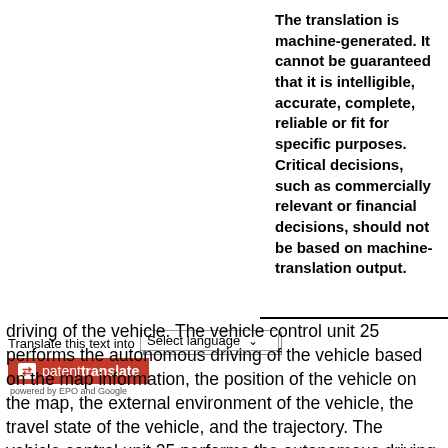The translation is machine-generated. It cannot be guaranteed that it is intelligible, accurate, complete, reliable or fit for specific purposes. Critical decisions, such as commercially relevant or financial decisions, should not be based on machine-translation output.
Translate this text into
[Figure (logo): patenttranslate logo with red background and arrows icon, powered by EPO and Google]
driving of the vehicle. The vehicle control unit 25 performs the autonomous driving of the vehicle based on the map information, the position of the vehicle on the map, the external environment of the vehicle, the travel state of the vehicle, and the trajectory. The vehicle control unit 25 performs the autonomous driving along the trajectory.